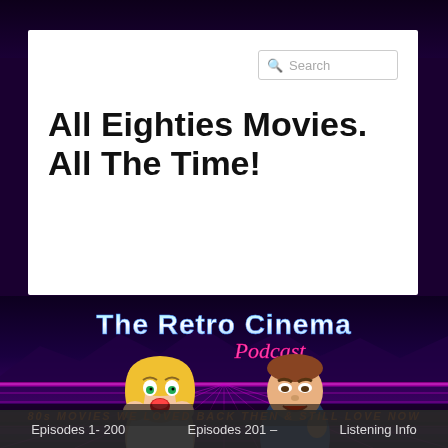Search
All Eighties Movies. All The Time!
[Figure (illustration): The Retro Cinema Podcast logo: retro synthwave background with purple grid lines, cartoon woman with blonde hair looking shocked, cartoon man in blue shirt looking angry, bold text 'The Retro Cinema Podcast' and subtitle '80s MOVIES WE LOVED BACK THEN & STILL LOVE NOW']
Episodes 1- 200   Episodes 201 –   Listening Info